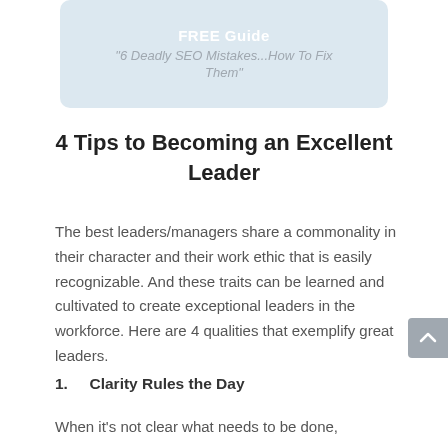[Figure (other): Light blue banner box with 'FREE Guide' title in white bold text and subtitle '6 Deadly SEO Mistakes...How To Fix Them' in italic gray text]
4 Tips to Becoming an Excellent Leader
The best leaders/managers share a commonality in their character and their work ethic that is easily recognizable. And these traits can be learned and cultivated to create exceptional leaders in the workforce. Here are 4 qualities that exemplify great leaders.
1.   Clarity Rules the Day
When it's not clear what needs to be done,